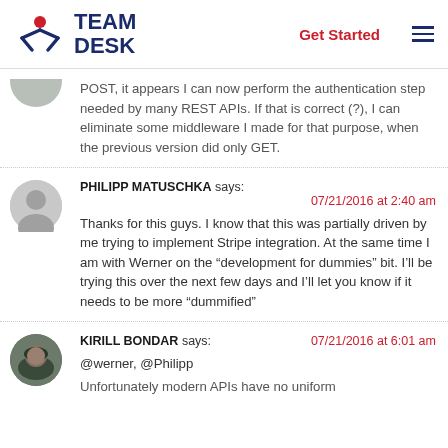TeamDesk — Get Started
POST, it appears I can now perform the authentication step needed by many REST APIs. If that is correct (?), I can eliminate some middleware I made for that purpose, when the previous version did only GET.
PHILIPP MATUSCHKA says: 07/21/2016 at 2:40 am
Thanks for this guys. I know that this was partially driven by me trying to implement Stripe integration. At the same time I am with Werner on the "development for dummies" bit. I'll be trying this over the next few days and I'll let you know if it needs to be more "dummified"
KIRILL BONDAR says: 07/21/2016 at 6:01 am
@werner, @Philipp
Unfortunately modern APIs have no uniform